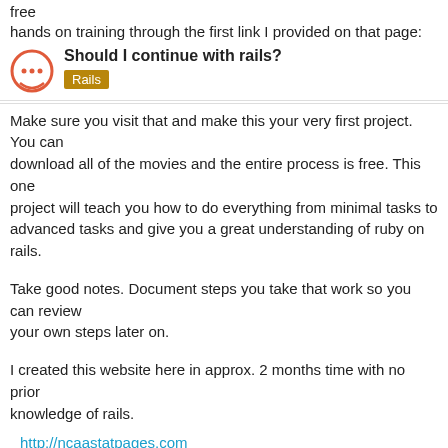free hands on training through the first link I provided on that page:
Should I continue with rails?
Rails
Make sure you visit that and make this your very first project. You can download all of the movies and the entire process is free. This one project will teach you how to do everything from minimal tasks to advanced tasks and give you a great understanding of ruby on rails.
Take good notes. Document steps you take that work so you can review your own steps later on.
I created this website here in approx. 2 months time with no prior knowledge of rails.
http://ncaastatpages.com